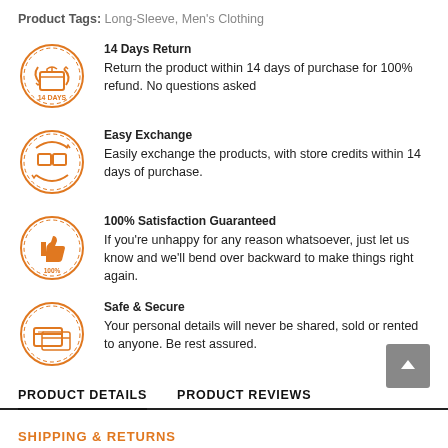Product Tags: Long-Sleeve, Men's Clothing
14 Days Return — Return the product within 14 days of purchase for 100% refund. No questions asked
Easy Exchange — Easily exchange the products, with store credits within 14 days of purchase.
100% Satisfaction Guaranteed — If you're unhappy for any reason whatsoever, just let us know and we'll bend over backward to make things right again.
Safe & Secure — Your personal details will never be shared, sold or rented to anyone. Be rest assured.
PRODUCT DETAILS
PRODUCT REVIEWS
SHIPPING & RETURNS